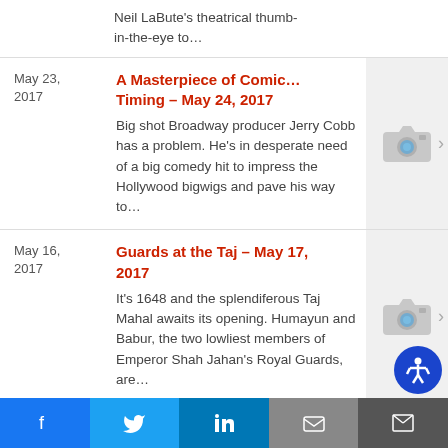Neil LaBute's theatrical thumb-in-the-eye to…
May 23, 2017 | A Masterpiece of Comic… Timing – May 24, 2017 | Big shot Broadway producer Jerry Cobb has a problem. He's in desperate need of a big comedy hit to impress the Hollywood bigwigs and pave his way to…
May 16, 2017 | Guards at the Taj – May 17, 2017 | It's 1648 and the splendiferous Taj Mahal awaits its opening. Humayun and Babur, the two lowliest members of Emperor Shah Jahan's Royal Guards, are…
May 09, | Tarzan – May 10, 2017